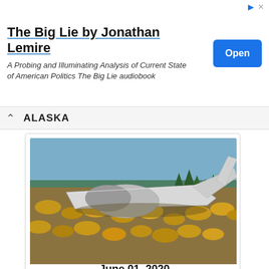[Figure (screenshot): Advertisement banner for 'The Big Lie by Jonathan Lemire' audiobook with an 'Open' button]
ALASKA
[Figure (photo): A crashed small aircraft lying on its side in an Alaskan tundra field with shrubs and trees in background]
June 01, 2020
[Figure (screenshot): NTSB narrative history of flight form with handwritten text describing the accident circumstances]